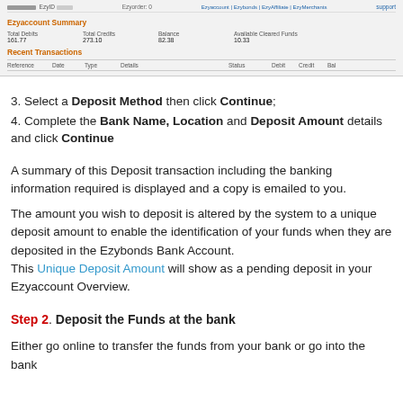[Figure (screenshot): Screenshot of Ezyaccount Summary page showing navigation bar, total debits 161.77, total credits 273.10, balance 82.38, available cleared funds 10.33, and Recent Transactions table header with columns: Reference, Date, Type, Details, Status, Debit, Credit, Bal]
3. Select a Deposit Method then click Continue;
4. Complete the Bank Name, Location and Deposit Amount details and click Continue
A summary of this Deposit transaction including the banking information required is displayed and a copy is emailed to you.
The amount you wish to deposit is altered by the system to a unique deposit amount to enable the identification of your funds when they are deposited in the Ezybonds Bank Account. This Unique Deposit Amount will show as a pending deposit in your Ezyaccount Overview.
Step 2. Deposit the Funds at the bank
Either go online to transfer the funds from your bank or go into the bank